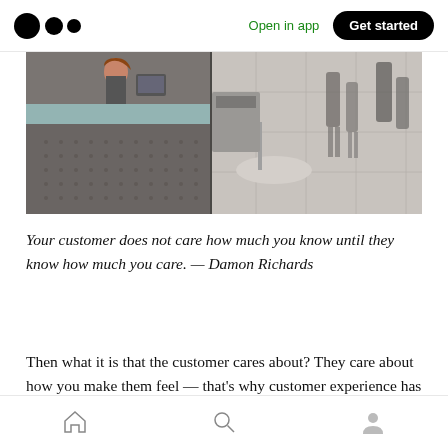Open in app | Get started
[Figure (photo): A modern airport or building reception desk area. Left side shows a woman behind a glass-topped perforated metal counter/kiosk. Right side shows a wide corridor with tiled floor, blurred legs of pedestrians walking in the background.]
Your customer does not care how much you know until they know how much you care. — Damon Richards
Then what it is that the customer cares about? They care about how you make them feel — that's why customer experience has become the
Home | Search | Profile